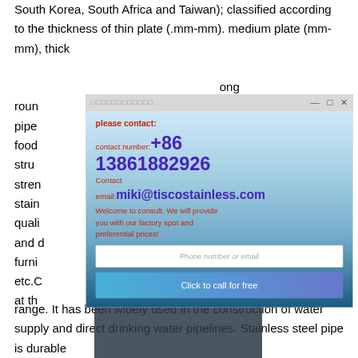South Korea, South Africa and Taiwan); classified according to the thickness of thin plate (.mm-mm). medium plate (mm-mm), thick
[Figure (screenshot): A popup/dialog window overlay on a webpage about stainless steel products. The popup has a titlebar with Chinese characters and window controls (minimize, maximize, close). The body shows contact information on a gradient blue background: 'please contact:', 'contact number: +86 13861882926', 'Contact', 'email: miki@tiscostainless.com', 'Welcome to consult. We will provide you with our factory spot and preferential prices!'. Below is an input field 'Phone number or email' and a 'Click to call for free' button. To the right of the popup is a hamburger menu icon and a blue chat icon.]
range. It has been widely used in the construction of water supply and direct drinking water pipelines. Stainless steel pipe is durable